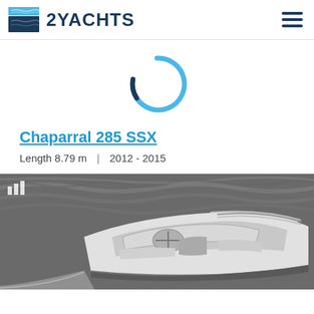2YACHTS
[Figure (other): Loading spinner icon — a circular arc in two tones of blue (light blue and dark navy), partially complete, suggesting a loading/refresh animation]
Chaparral 285 SSX
Length 8.79 m  |  2012 - 2015
[Figure (photo): Black and white aerial/angled photograph of a Chaparral 285 SSX motorboat speeding through water, showing the cockpit, helm, and bow from above and to the side. A bar chart icon is overlaid in the top-left corner of the image.]